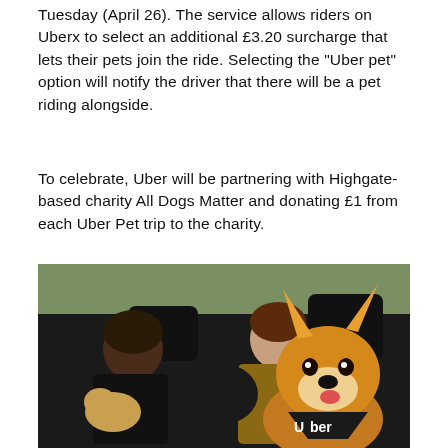Tuesday (April 26). The service allows riders on Uberx to select an additional £3.20 surcharge that lets their pets join the ride. Selecting the "Uber pet" option will notify the driver that there will be a pet riding alongside.
To celebrate, Uber will be partnering with Highgate-based charity All Dogs Matter and donating £1 from each Uber Pet trip to the charity.
[Figure (photo): Two women sitting in the back seat of a car with three dogs including a corgi wearing an Uber branded bandana, a black and tan dog, and a small fluffy dog.]